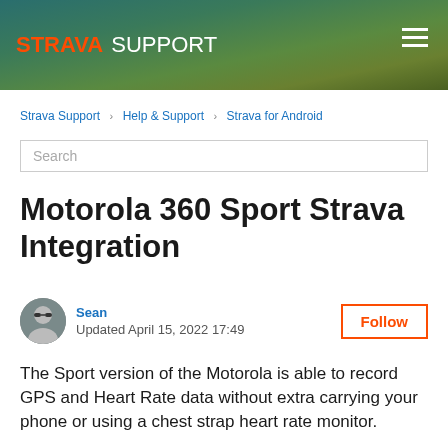STRAVA SUPPORT
Strava Support › Help & Support › Strava for Android
Motorola 360 Sport Strava Integration
Sean
Updated April 15, 2022 17:49
The Sport version of the Motorola is able to record GPS and Heart Rate data without extra carrying your phone or using a chest strap heart rate monitor.